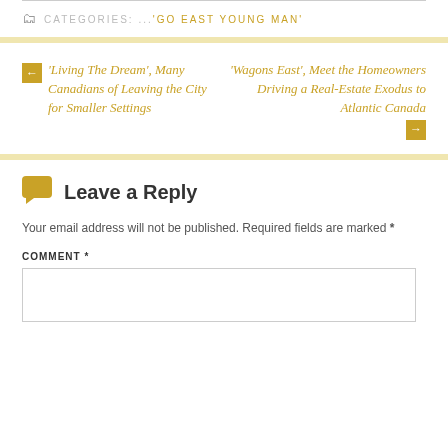CATEGORIES: ...'GO EAST YOUNG MAN'
'Living The Dream', Many Canadians of Leaving the City for Smaller Settings
'Wagons East', Meet the Homeowners Driving a Real-Estate Exodus to Atlantic Canada
Leave a Reply
Your email address will not be published. Required fields are marked *
COMMENT *